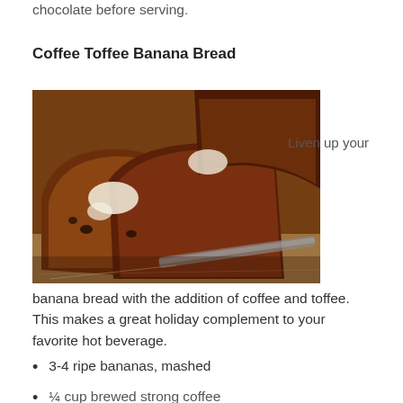chocolate before serving.
Coffee Toffee Banana Bread
[Figure (photo): Slices of dark, moist banana bread with butter melting on top, arranged on parchment paper with a knife visible]
Liven up your banana bread with the addition of coffee and toffee. This makes a great holiday complement to your favorite hot beverage.
3-4 ripe bananas, mashed
¼ cup brewed strong coffee